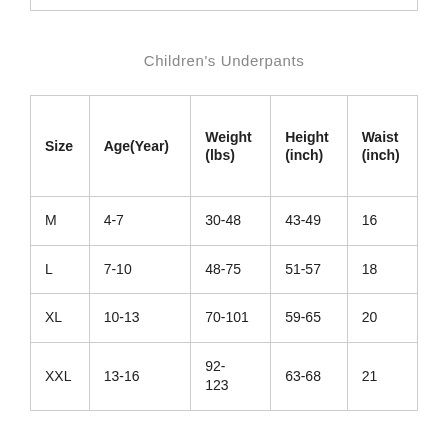Children's Underpants
| Size | Age(Year) | Weight (lbs) | Height (inch) | Waist (inch) |
| --- | --- | --- | --- | --- |
| M | 4-7 | 30-48 | 43-49 | 16 |
| L | 7-10 | 48-75 | 51-57 | 18 |
| XL | 10-13 | 70-101 | 59-65 | 20 |
| XXL | 13-16 | 92-123 | 63-68 | 21 |